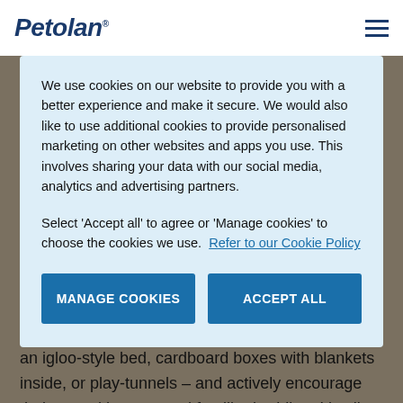Petolan®
We use cookies on our website to provide you with a better experience and make it secure. We would also like to use additional cookies to provide personalised marketing on other websites and apps you use. This involves sharing your data with our social media, analytics and advertising partners.
Select 'Accept all' to agree or 'Manage cookies' to choose the cookies we use. Refer to our Cookie Policy
MANAGE COOKIES
ACCEPT ALL
an igloo-style bed, cardboard boxes with blankets inside, or play-tunnels – and actively encourage their use with treats and familiar bedding. It's all about making your cat feel secure in her core territory.'
Give your pet access to warm, safe places to sleep. Make